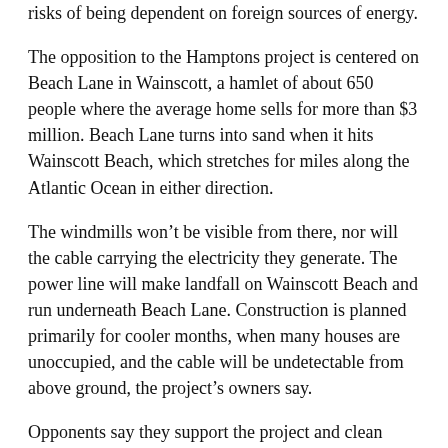risks of being dependent on foreign sources of energy.
The opposition to the Hamptons project is centered on Beach Lane in Wainscott, a hamlet of about 650 people where the average home sells for more than $3 million. Beach Lane turns into sand when it hits Wainscott Beach, which stretches for miles along the Atlantic Ocean in either direction.
The windmills won’t be visible from there, nor will the cable carrying the electricity they generate. The power line will make landfall on Wainscott Beach and run underneath Beach Lane. Construction is planned primarily for cooler months, when many houses are unoccupied, and the cable will be undetectable from above ground, the project’s owners say.
Opponents say they support the project and clean power but feel the cable’s installation will disrupt residential life and contaminate the area. Other routes would be less intrusive, they argue.